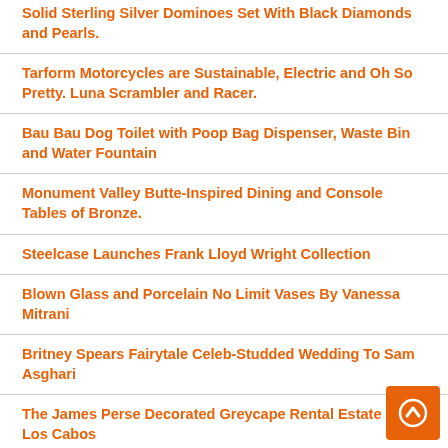Solid Sterling Silver Dominoes Set With Black Diamonds and Pearls.
Tarform Motorcycles are Sustainable, Electric and Oh So Pretty. Luna Scrambler and Racer.
Bau Bau Dog Toilet with Poop Bag Dispenser, Waste Bin and Water Fountain
Monument Valley Butte-Inspired Dining and Console Tables of Bronze.
Steelcase Launches Frank Lloyd Wright Collection
Blown Glass and Porcelain No Limit Vases By Vanessa Mitrani
Britney Spears Fairytale Celeb-Studded Wedding To Sam Asghari
The James Perse Decorated Greycape Rental Estate in Los Cabos
The Limbo Light Collection Is Like Having Cirqu...